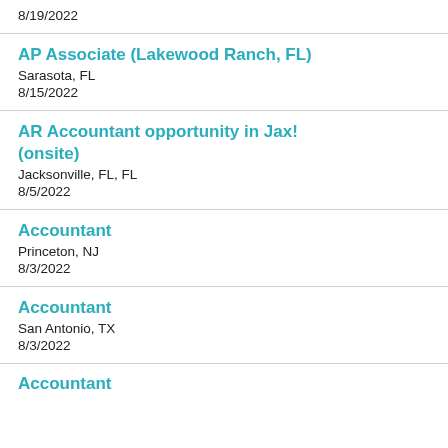8/19/2022
AP Associate (Lakewood Ranch, FL)
Sarasota, FL
8/15/2022
AR Accountant opportunity in Jax! (onsite)
Jacksonville, FL, FL
8/5/2022
Accountant
Princeton, NJ
8/3/2022
Accountant
San Antonio, TX
8/3/2022
Accountant